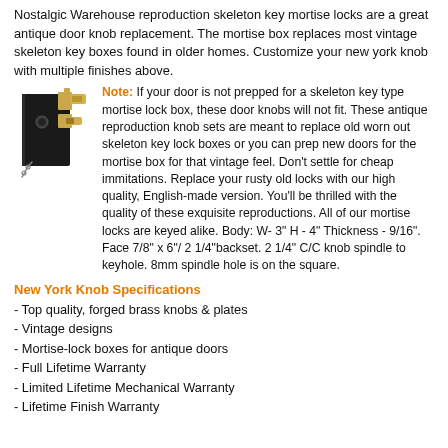Nostalgic Warehouse reproduction skeleton key mortise locks are a great antique door knob replacement. The mortise box replaces most vintage skeleton key boxes found in older homes. Customize your new york knob with multiple finishes above.
[Figure (photo): Photo of a mortise lock box mechanism showing a black metal body with brass latch and keyhole components, with a chain attached.]
Note: If your door is not prepped for a skeleton key type mortise lock box, these door knobs will not fit. These antique reproduction knob sets are meant to replace old worn out skeleton key lock boxes or you can prep new doors for the mortise box for that vintage feel. Don't settle for cheap immitations. Replace your rusty old locks with our high quality, English-made version. You'll be thrilled with the quality of these exquisite reproductions. All of our mortise locks are keyed alike. Body: W- 3" H - 4" Thickness - 9/16". Face 7/8" x 6"/ 2 1/4"backset. 2 1/4" C/C knob spindle to keyhole. 8mm spindle hole is on the square.
New York Knob Specifications
- Top quality, forged brass knobs & plates
- Vintage designs
- Mortise-lock boxes for antique doors
- Full Lifetime Warranty
- Limited Lifetime Mechanical Warranty
- Lifetime Finish Warranty